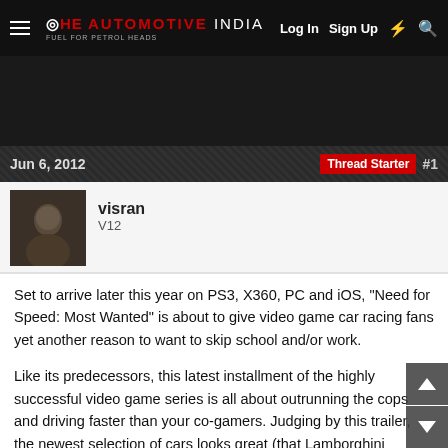THE AUTOMOTIVE INDIA — Log In  Sign Up
Jun 6, 2012  Thread Starter  #1
visran
V12
Set to arrive later this year on PS3, X360, PC and iOS, "Need for Speed: Most Wanted" is about to give video game car racing fans yet another reason to want to skip school and/or work.
Like its predecessors, this latest installment of the highly successful video game series is all about outrunning the cops and driving faster than your co-gamers. Judging by this trailer, the newest selection of cars looks great (that Lamborghini Aventador caught our eye), and the creators even included the Ford F-150 Raptor.Regardless of which vehicle you opt for, plenty of fans will soon be spending more of their time in front of their